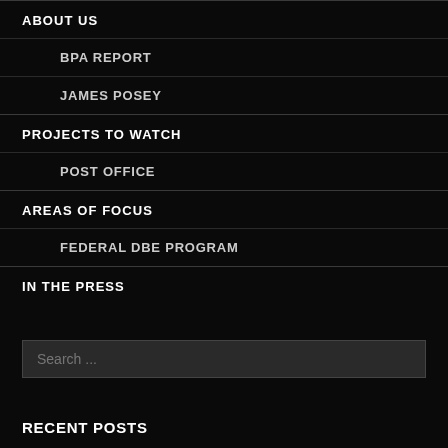ABOUT US
BPA REPORT
JAMES POSEY
PROJECTS TO WATCH
POST OFFICE
AREAS OF FOCUS
FEDERAL DBE PROGRAM
IN THE PRESS
Search ...
RECENT POSTS